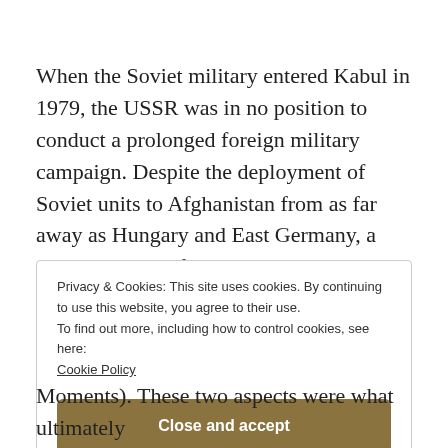When the Soviet military entered Kabul in 1979, the USSR was in no position to conduct a prolonged foreign military campaign. Despite the deployment of Soviet units to Afghanistan from as far away as Hungary and East Germany, a demonstration of the strategic
Privacy & Cookies: This site uses cookies. By continuing to use this website, you agree to their use.
To find out more, including how to control cookies, see here:
Cookie Policy

Close and accept
Moments). These two aspects were what ultimately